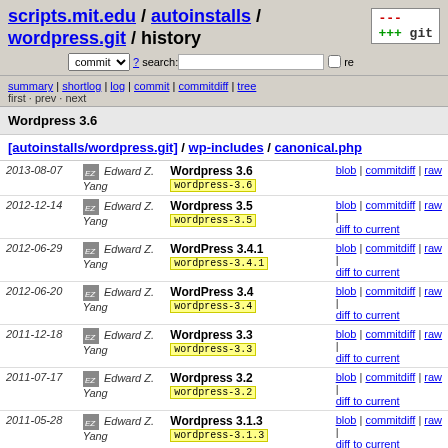scripts.mit.edu / autoinstalls / wordpress.git / history
summary | shortlog | log | commit | commitdiff | tree
first · prev · next
Wordpress 3.6
[autoinstalls/wordpress.git] / wp-includes / canonical.php
| date | author | message | links |
| --- | --- | --- | --- |
| 2013-08-07 | Edward Z. Yang | Wordpress 3.6 | wordpress-3.6 | blob | commitdiff | raw |
| 2012-12-14 | Edward Z. Yang | Wordpress 3.5 | wordpress-3.5 | blob | commitdiff | raw | diff to current |
| 2012-06-29 | Edward Z. Yang | WordPress 3.4.1 | wordpress-3.4.1 | blob | commitdiff | raw | diff to current |
| 2012-06-20 | Edward Z. Yang | WordPress 3.4 | wordpress-3.4 | blob | commitdiff | raw | diff to current |
| 2011-12-18 | Edward Z. Yang | Wordpress 3.3 | wordpress-3.3 | blob | commitdiff | raw | diff to current |
| 2011-07-17 | Edward Z. Yang | Wordpress 3.2 | wordpress-3.2 | blob | commitdiff | raw | diff to current |
| 2011-05-28 | Edward Z. Yang | Wordpress 3.1.3 | wordpress-3.1.3 | blob | commitdiff | raw | diff to current |
| 2011-05- | Edward Z. | Wordpress 3.1.1 | blob | commitdiff | raw |